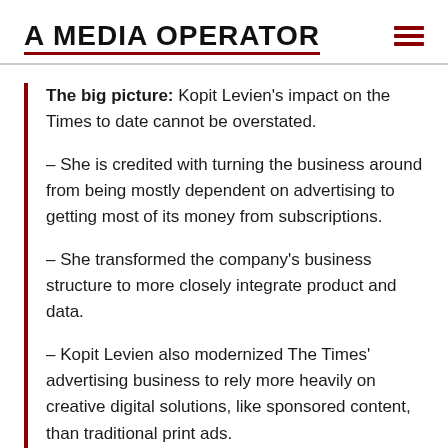A MEDIA OPERATOR
The big picture: Kopit Levien’s impact on the Times to date cannot be overstated.
– She is credited with turning the business around from being mostly dependent on advertising to getting most of its money from subscriptions.
– She transformed the company’s business structure to more closely integrate product and data.
– Kopit Levien also modernized The Times’ advertising business to rely more heavily on creative digital solutions, like sponsored content, than traditional print ads.